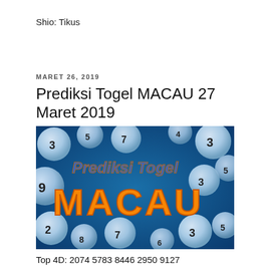Shio: Tikus
MARET 26, 2019
Prediksi Togel MACAU 27 Maret 2019
[Figure (photo): Lottery balls with numbers on a blue background, with text 'Prediksi Togel' in blue and 'MACAU' in orange overlaid on the image.]
Top 4D: 2074 5783 8446 2950 9127